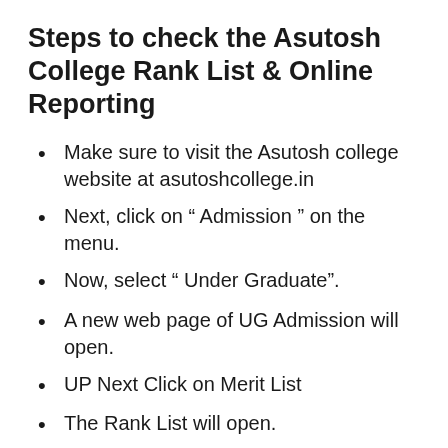Steps to check the Asutosh College Rank List & Online Reporting
Make sure to visit the Asutosh college website at asutoshcollege.in
Next, click on “ Admission ” on the menu.
Now, select “ Under Graduate”.
A new web page of UG Admission will open.
UP Next Click on Merit List
The Rank List will open.
Verify the Rank.
Applicants now should click on “ Online